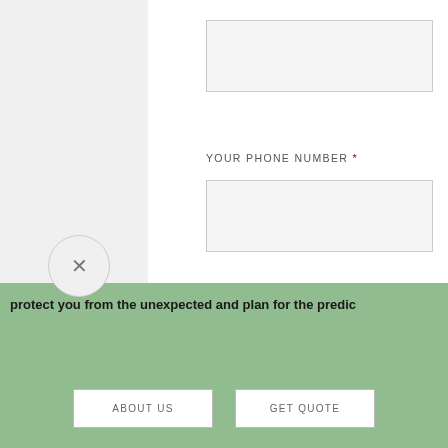[Figure (screenshot): Web contact form showing two empty input fields and a large textarea. Fields labeled 'YOUR PHONE NUMBER *' and 'HOW CAN WE HELP? *' with required asterisks in dark red. A grey accessibility button with person icon on left side. A circular close (X) button overlaying bottom left.]
YOUR PHONE NUMBER *
HOW CAN WE HELP? *
protect you from the unexpected and plan for the predic
ABOUT US
GET QUOTE